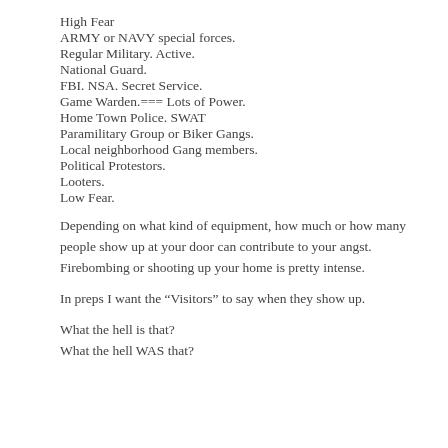High Fear
ARMY or NAVY special forces.
Regular Military. Active.
National Guard.
FBI. NSA. Secret Service.
Game Warden.=== Lots of Power.
Home Town Police. SWAT
Paramilitary Group or Biker Gangs.
Local neighborhood Gang members.
Political Protestors.
Looters.
Low Fear.
Depending on what kind of equipment, how much or how many people show up at your door can contribute to your angst. Firebombing or shooting up your home is pretty intense.
In preps I want the “Visitors” to say when they show up.
What the hell is that?
What the hell WAS that?